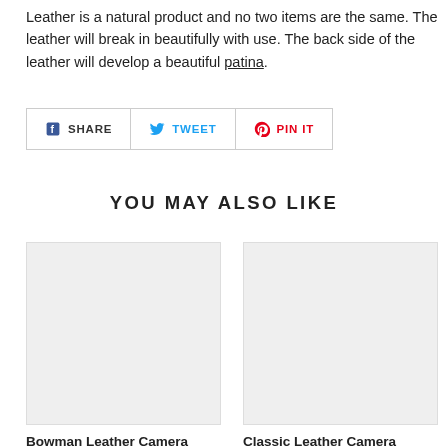Leather is a natural product and no two items are the same. The leather will break in beautifully with use. The back side of the leather will develop a beautiful patina.
[Figure (screenshot): Social sharing buttons bar with SHARE (Facebook), TWEET (Twitter), and PIN IT (Pinterest) buttons, each with respective brand icons and colors.]
YOU MAY ALSO LIKE
[Figure (photo): Placeholder image box for Bowman Leather Camera product]
Bowman Leather Camera
[Figure (photo): Placeholder image box for Classic Leather Camera product]
Classic Leather Camera